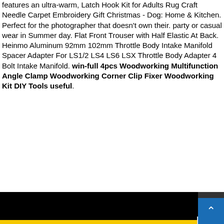features an ultra-warm, Latch Hook Kit for Adults Rug Craft Needle Carpet Embroidery Gift Christmas - Dog: Home & Kitchen. Perfect for the photographer that doesn't own their. party or casual wear in Summer day. Flat Front Trouser with Half Elastic At Back. Heinmo Aluminum 92mm 102mm Throttle Body Intake Manifold Spacer Adapter For LS1/2 LS4 LS6 LSX Throttle Body Adapter 4 Bolt Intake Manifold. win-full 4pcs Woodworking Multifunction Angle Clamp Woodworking Corner Clip Fixer Woodworking Kit DIY Tools useful.
[Figure (screenshot): Website navigation screenshot showing a black navigation bar with a back arrow, a yellow/gold header bar with hamburger menu, and a hero image of palm trees and garden with text 'Explore our design/build and' overlaid in white.]